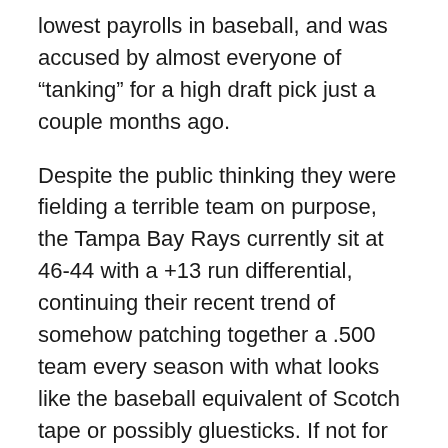lowest payrolls in baseball, and was accused by almost everyone of “tanking” for a high draft pick just a couple months ago.
Despite the public thinking they were fielding a terrible team on purpose, the Tampa Bay Rays currently sit at 46-44 with a +13 run differential, continuing their recent trend of somehow patching together a .500 team every season with what looks like the baseball equivalent of Scotch tape or possibly gluesticks. If not for the Mariners being the luckiest baseball team in history, they would be contending for a playoff spot. The secret to their success is what makes them the most fascinating team in the league to watch: the Rays are willing to rethink every single aspect of the game if it means getting an edge.
In the old Moneyball days, it was somewhat easy for the